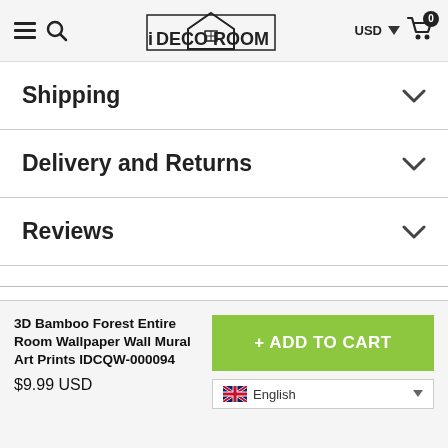iDECOROOM header with hamburger menu, search, logo, USD currency, and cart icon
Shipping
Delivery and Returns
Reviews
3D Bamboo Forest Entire Room Wallpaper Wall Mural Art Prints IDCQW-000094
$9.99 USD
+ ADD TO CART
English